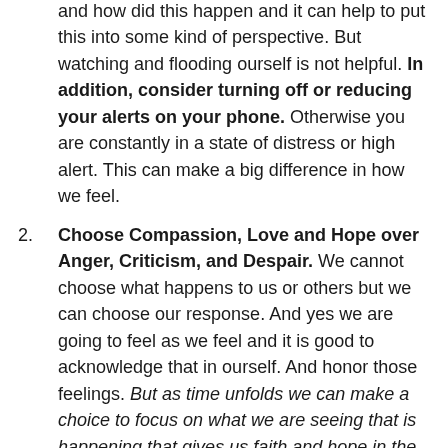and how did this happen and it can help to put this into some kind of perspective. But watching and flooding ourself is not helpful. In addition, consider turning off or reducing your alerts on your phone. Otherwise you are constantly in a state of distress or high alert. This can make a big difference in how we feel.
Choose Compassion, Love and Hope over Anger, Criticism, and Despair. We cannot choose what happens to us or others but we can choose our response. And yes we are going to feel as we feel and it is good to acknowledge that in ourself. And honor those feelings. But as time unfolds we can make a choice to focus on what we are seeing that is happening that gives us faith and hope in the human response of those wishing to help each other and be there for one another.